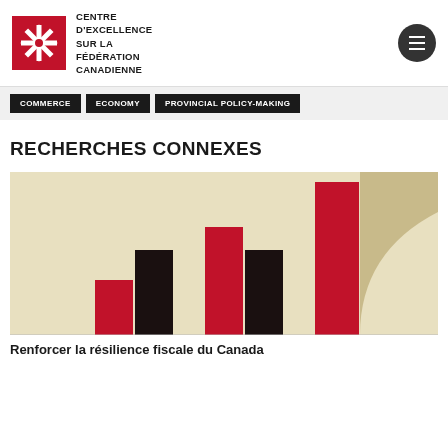[Figure (logo): Centre d'Excellence sur la Fédération Canadienne logo — red square with white snowflake/asterisk design]
CENTRE D'EXCELLENCE SUR LA FÉDÉRATION CANADIENNE
COMMERCE
ECONOMY
PROVINCIAL POLICY-MAKING
RECHERCHES CONNEXES
[Figure (bar-chart): Decorative grouped bar chart with red and black bars on a cream background, partially cut off on right side with a tan/khaki overlay panel]
Renforcer la résilience fiscale du Canada